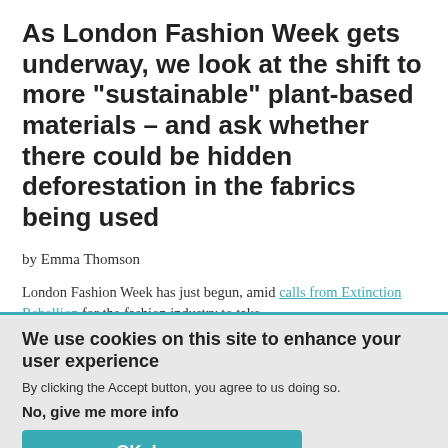As London Fashion Week gets underway, we look at the shift to more "sustainable" plant-based materials – and ask whether there could be hidden deforestation in the fabrics being used
by Emma Thomson
London Fashion Week has just begun, amid calls from Extinction Rebellion for the fashion industry to take
We use cookies on this site to enhance your user experience
By clicking the Accept button, you agree to us doing so.
No, give me more info
OK, I agree